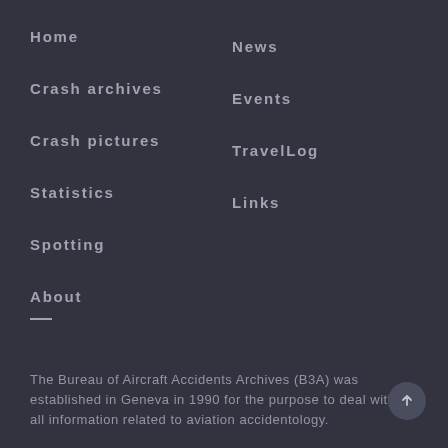Home
Crash archives
Crash pictures
Statistics
Spotting
About
News
Events
TravelLog
Links
The Bureau of Aircraft Accidents Archives (B3A) was established in Geneva in 1990 for the purpose to deal with all information related to aviation accidentology.